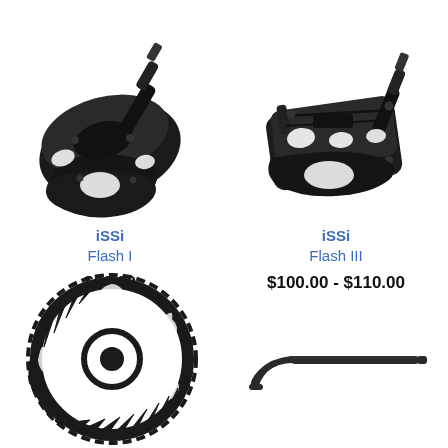[Figure (photo): iSSi Flash I clipless bicycle pedal, black, angled view]
iSSi
Flash I
$60.00
[Figure (photo): iSSi Flash III clipless bicycle pedal, black, angled view]
iSSi
Flash III
$100.00 - $110.00
[Figure (photo): Black chainring with teeth, round, bicycle component]
[Figure (photo): Black bent tool or Allen key wrench, elongated shape]